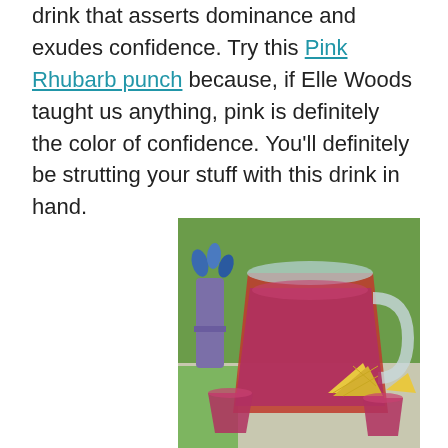drink that asserts dominance and exudes confidence. Try this Pink Rhubarb punch because, if Elle Woods taught us anything, pink is definitely the color of confidence. You'll definitely be strutting your stuff with this drink in hand.
[Figure (photo): A large clear pitcher filled with deep pink/red punch, garnished with pineapple slices, alongside smaller cups of the same punch. Set outdoors on a table with a purple vase of blue flowers in the background on green grass.]